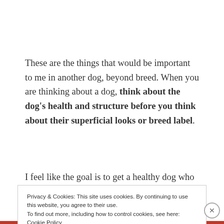These are the things that would be important to me in another dog, beyond breed. When you are thinking about a dog, think about the dog's health and structure before you think about their superficial looks or breed label.
I feel like the goal is to get a healthy dog who looks
Privacy & Cookies: This site uses cookies. By continuing to use this website, you agree to their use.
To find out more, including how to control cookies, see here: Cookie Policy
Close and accept